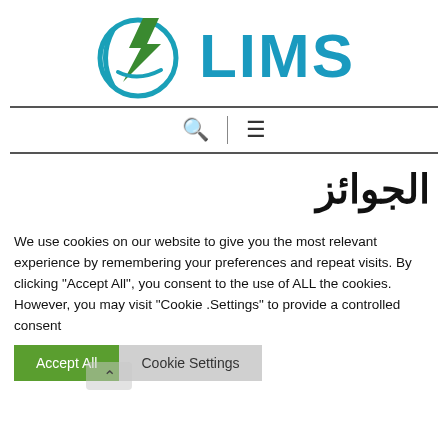[Figure (logo): LIMS logo with green stylized tree/lightning bolt icon inside a teal crescent circle, followed by 'LIMS' in large teal bold letters]
🔍 | ☰
الجوائز
We use cookies on our website to give you the most relevant experience by remembering your preferences and repeat visits. By clicking "Accept All", you consent to the use of ALL the cookies. However, you may visit "Cookie Settings" to provide a controlled consent